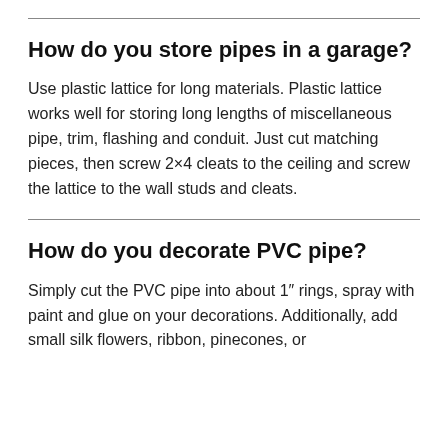How do you store pipes in a garage?
Use plastic lattice for long materials. Plastic lattice works well for storing long lengths of miscellaneous pipe, trim, flashing and conduit. Just cut matching pieces, then screw 2×4 cleats to the ceiling and screw the lattice to the wall studs and cleats.
How do you decorate PVC pipe?
Simply cut the PVC pipe into about 1″ rings, spray with paint and glue on your decorations. Additionally, add small silk flowers, ribbon, pinecones, or